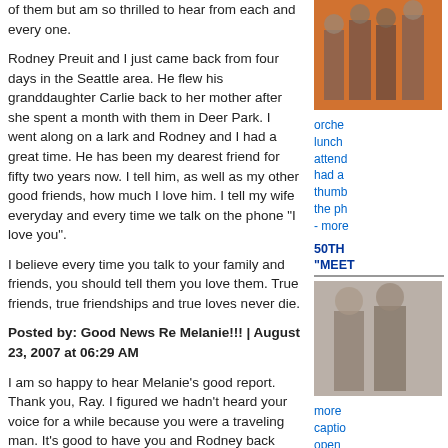of them but am so thrilled to hear from each and every one.
Rodney Preuit and I just came back from four days in the Seattle area. He flew his granddaughter Carlie back to her mother after she spent a month with them in Deer Park. I went along on a lark and Rodney and I had a great time. He has been my dearest friend for fifty two years now. I tell him, as well as my other good friends, how much I love him. I tell my wife everyday and every time we talk on the phone "I love you".
I believe every time you talk to your family and friends, you should tell them you love them. True friends, true friendships and true loves never die.
Posted by: Good News Re Melanie!!! | August 23, 2007 at 06:29 AM
I am so happy to hear Melanie's good report. Thank you, Ray. I figured we hadn't heard your voice for a while because you were a traveling man. It's good to have you and Rodney back safely. Since we knew you two were taking a road trip, (or was it all by air?) I was a "worrying mother" on your behalf.
Lots of new voices and repeat contributors on the blog these days - my feeling of family has certainly expanded! What a privilege to care for you all!!!
[Figure (photo): Photo of a group of people, partial view, orange/warm toned background]
orche lunch attend had a thumb the ph - more
50TH "MEET
[Figure (photo): Photo of two people, partial view]
more captio open